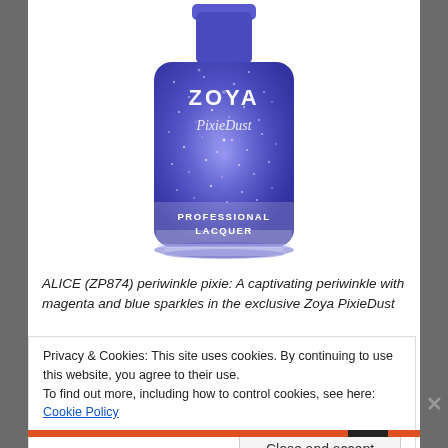[Figure (photo): Zoya PixieDust nail polish bottle in periwinkle blue/purple with sparkle texture, labeled PROFESSIONAL LACQUER, brand name ZOYA and PixieDust on bottle]
ALICE (ZP874) periwinkle pixie: A captivating periwinkle with magenta and blue sparkles in the exclusive Zoya PixieDust
Privacy & Cookies: This site uses cookies. By continuing to use this website, you agree to their use.
To find out more, including how to control cookies, see here: Cookie Policy
Close and accept